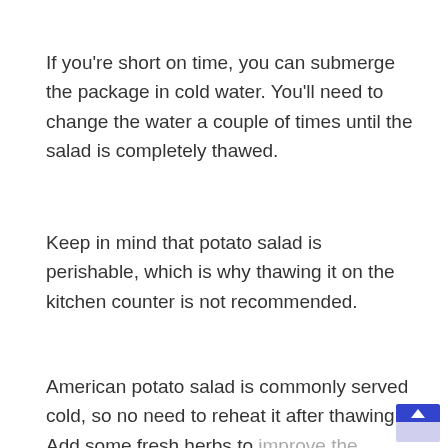If you're short on time, you can submerge the package in cold water. You'll need to change the water a couple of times until the salad is completely thawed.
Keep in mind that potato salad is perishable, which is why thawing it on the kitchen counter is not recommended.
American potato salad is commonly served cold, so no need to reheat it after thawing. Add some fresh herbs to improve the texture and flavor.